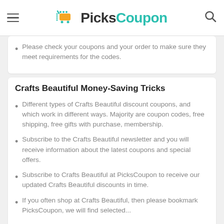PicksCoupon
Please check your coupons and your order to make sure they meet requirements for the codes.
Crafts Beautiful Money-Saving Tricks
Different types of Crafts Beautiful discount coupons, and which work in different ways. Majority are coupon codes, free shipping, free gifts with purchase, membership.
Subscribe to the Crafts Beautiful newsletter and you will receive information about the latest coupons and special offers.
Subscribe to Crafts Beautiful at PicksCoupon to receive our updated Crafts Beautiful discounts in time.
If you often shop at Crafts Beautiful, then please bookmark PicksCoupon, we will find selected...